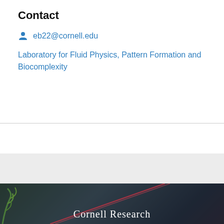Contact
eb22@cornell.edu
Laboratory for Fluid Physics, Pattern Formation and Biocomplexity
[Figure (photo): Dark background photo with green plant elements and a diagonal colored line, overlaid with 'Cornell Research' text in white serif font]
Cornell Research